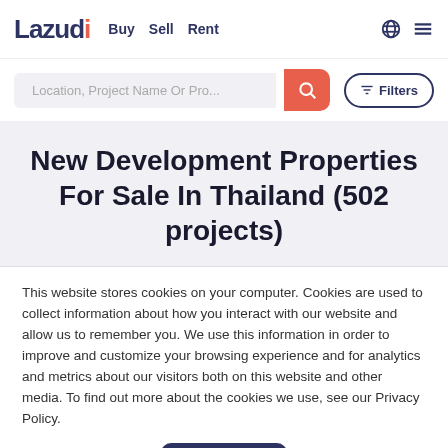Lazudi | Buy  Sell  Rent
Location, Project Name Or Pro...
New Development Properties For Sale In Thailand (502 projects)
This website stores cookies on your computer. Cookies are used to collect information about how you interact with our website and allow us to remember you. We use this information in order to improve and customize your browsing experience and for analytics and metrics about our visitors both on this website and other media. To find out more about the cookies we use, see our Privacy Policy.
Accept